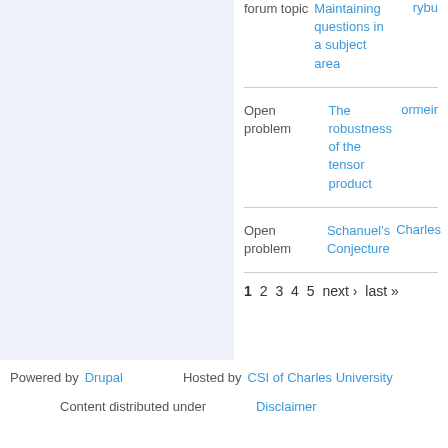| Type | Title | User |
| --- | --- | --- |
| forum topic | Maintaining questions in a subject area | rybu |
| Open problem | The robustness of the tensor product | ormeir |
| Open problem | Schanuel's Conjecture | Charles |
1 2 3 4 5 next › last »
Powered by Drupal   Hosted by CSI of Charles University   Content distributed under   Disclaimer